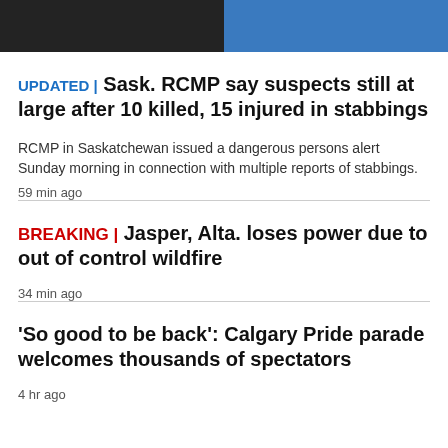[Figure (photo): Two partial headshots: left person in dark shirt, right person in blue shirt]
UPDATED | Sask. RCMP say suspects still at large after 10 killed, 15 injured in stabbings
RCMP in Saskatchewan issued a dangerous persons alert Sunday morning in connection with multiple reports of stabbings.
59 min ago
BREAKING | Jasper, Alta. loses power due to out of control wildfire
34 min ago
'So good to be back': Calgary Pride parade welcomes thousands of spectators
4 hr ago